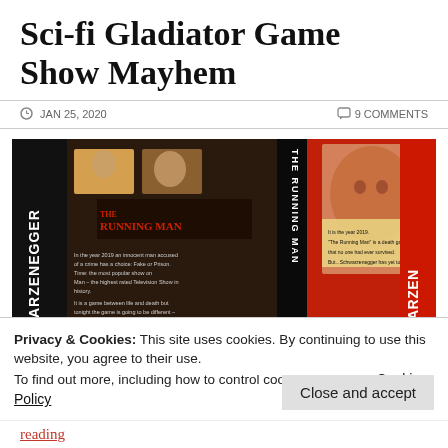Sci-fi Gladiator Game Show Mayhem
JAN 25, 2020   9 COMMENTS
[Figure (photo): VHS tape cover for 'The Running Man' starring Arnold Schwarzenegger, showing front and back covers with images of Schwarzenegger and other cast members]
Privacy & Cookies: This site uses cookies. By continuing to use this website, you agree to their use.
To find out more, including how to control cookies, see here: Cookie Policy
Close and accept
reading